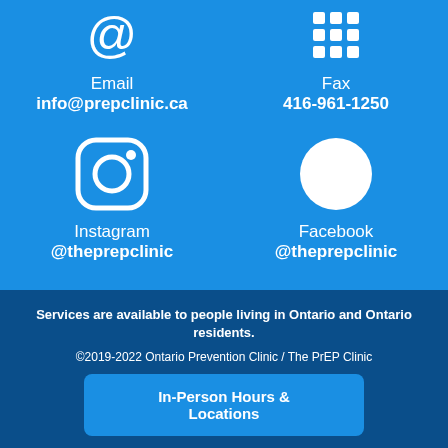[Figure (illustration): Email icon (@ symbol) in white on blue background]
Email
info@prepclinic.ca
[Figure (illustration): Fax icon in white on blue background]
Fax
416-961-1250
[Figure (illustration): Instagram logo icon in white on blue background]
Instagram
@theprepclinic
[Figure (illustration): Facebook logo icon in white on blue background]
Facebook
@theprepclinic
Services are available to people living in Ontario and Ontario residents.
©2019-2022 Ontario Prevention Clinic / The PrEP Clinic
In-Person Hours & Locations